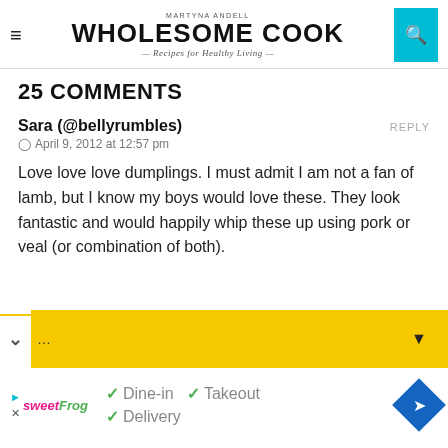MARTYNA ANDELL
WHOLESOME COOK
Recipes for Healthy Living
25 COMMENTS
Sara (@bellyrumbles)
April 9, 2012 at 12:57 pm
Love love love dumplings. I must admit I am not a fan of lamb, but I know my boys would love these. They look fantastic and would happily whip these up using pork or veal (or combination of both).